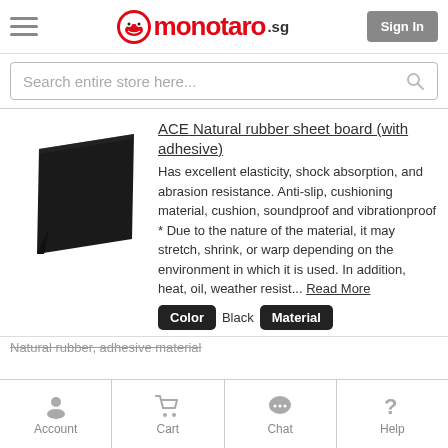monotaro.sg — Sign In
Search entire store here...
[Figure (photo): Black rubber sheet board product image, square shaped dark rubber mat]
ACE Natural rubber sheet board (with adhesive)
Has excellent elasticity, shock absorption, and abrasion resistance. Anti-slip, cushioning material, cushion, soundproof and vibrationproof * Due to the nature of the material, it may stretch, shrink, or warp depending on the environment in which it is used. In addition, heat, oil, weather resist... Read More
Color  Black  Material
Natural rubber, adhesive material
Account  Cart  Chat  Help